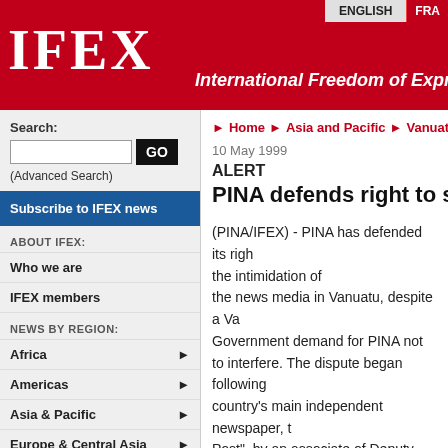IFEX - International Freedom of Expression
ENGLISH | FRA
Search:
(Advanced Search)
Subscribe to IFEX news
ABOUT IFEX:
Who we are
IFEX members
NEWS BY REGION:
Africa
Americas
Asia & Pacific
Europe & Central Asia
Middle East & North Africa
International
IFEX CAMPAIGNS AND ADVOCACY:
Home ▶ Asia and Pacific ▶ Vanuatu
10 May 1999
ALERT
PINA defends right to speak out
(PINA/IFEX) - PINA has defended its right to report on the intimidation of the news media in Vanuatu, despite a Vanuatu Government demand for PINA not to interfere. The dispute began following country's main independent newspaper, the 'Vanuatu Post', by an associate of Deputy Prime M